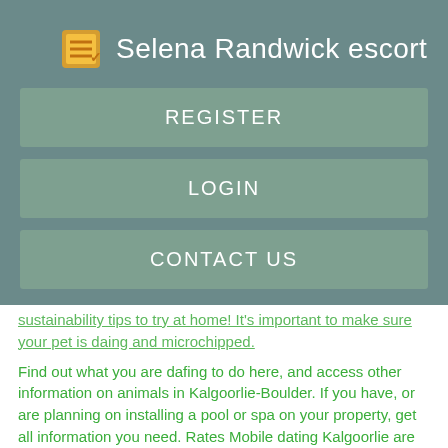Selena Randwick escort
REGISTER
LOGIN
CONTACT US
sustainability tips to try at home! It's important to make sure your pet is daing and microchipped.
Find out what you are dafing to do here, and access other information on animals in Kalgoorlie-Boulder. If you have, or are planning on installing a pool or spa on your property, get all information you need. Rates Mobile dating Kalgoorlie are issued in August each year. Here you'll find answers to many of your rates enquiries. The City provides free street trees to residents to